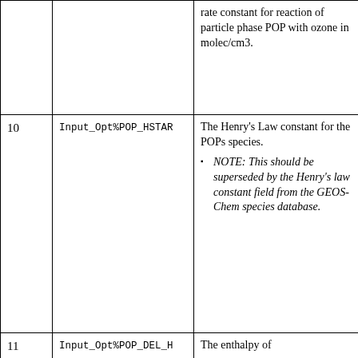| # | Field Name | Description |  |
| --- | --- | --- | --- |
|  |  | rate constant for reaction of particle phase POP with ozone in molec/cm3. |  |
| 10 | Input_Opt%POP_HSTAR | The Henry's Law constant for the POPs species.
• NOTE: This should be superseded by the Henry's law constant field from the GEOS-Chem species database. |  |
| 11 | Input_Opt%POP_DEL_H | The enthalpy of |  |